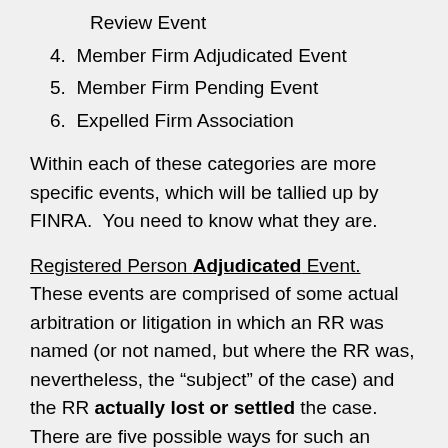Review Event
4. Member Firm Adjudicated Event
5. Member Firm Pending Event
6. Expelled Firm Association
Within each of these categories are more specific events, which will be tallied up by FINRA.  You need to know what they are.
Registered Person Adjudicated Event.  These events are comprised of some actual arbitration or litigation in which an RR was named (or not named, but where the RR was, nevertheless, the “subject” of the case) and the RR actually lost or settled the case.  There are five possible ways for such an